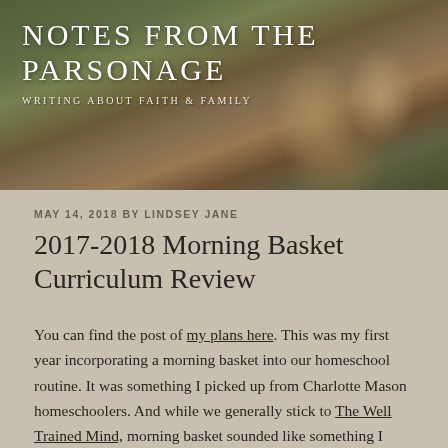[Figure (photo): Header photo of children sitting outdoors, overlaid with blog title text]
NOTES FROM THE PARSONAGE
WRITING ABOUT FAITH & FAMILY
MAY 14, 2018 BY LINDSEY JANE
2017-2018 Morning Basket Curriculum Review
You can find the post of my plans here. This was my first year incorporating a morning basket into our homeschool routine. It was something I picked up from Charlotte Mason homeschoolers. And while we generally stick to The Well Trained Mind, morning basket sounded like something I wanted to adapt to our homeschool routine.